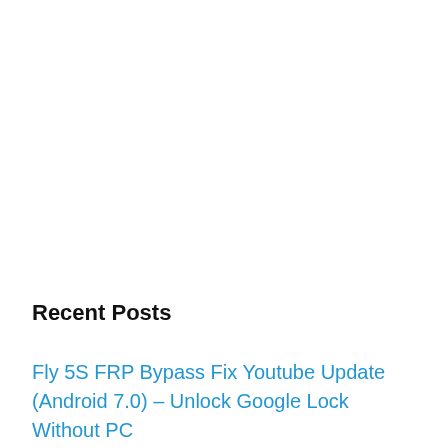Recent Posts
Fly 5S FRP Bypass Fix Youtube Update (Android 7.0) – Unlock Google Lock Without PC